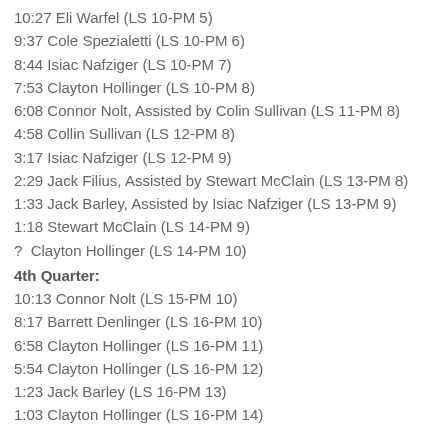10:27 Eli Warfel (LS 10-PM 5)
9:37 Cole Spezialetti (LS 10-PM 6)
8:44 Isiac Nafziger (LS 10-PM 7)
7:53 Clayton Hollinger (LS 10-PM 8)
6:08 Connor Nolt, Assisted by Colin Sullivan (LS 11-PM 8)
4:58 Collin Sullivan (LS 12-PM 8)
3:17 Isiac Nafziger (LS 12-PM 9)
2:29 Jack Filius, Assisted by Stewart McClain (LS 13-PM 8)
1:33 Jack Barley, Assisted by Isiac Nafziger (LS 13-PM 9)
1:18 Stewart McClain (LS 14-PM 9)
?  Clayton Hollinger (LS 14-PM 10)
4th Quarter:
10:13 Connor Nolt (LS 15-PM 10)
8:17 Barrett Denlinger (LS 16-PM 10)
6:58 Clayton Hollinger (LS 16-PM 11)
5:54 Clayton Hollinger (LS 16-PM 12)
1:23 Jack Barley (LS 16-PM 13)
1:03 Clayton Hollinger (LS 16-PM 14)